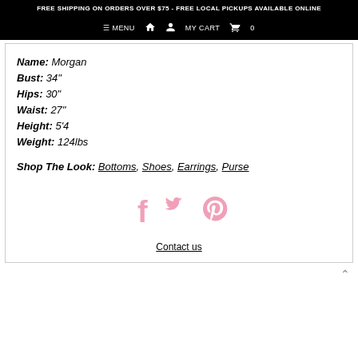FREE SHIPPING ON ORDERS OVER $75 - FREE LOCAL PICKUPS AVAILABLE ONLINE
≡ MENU  🏠  👤  MY CART 🛒 0
Name: Morgan
Bust: 34"
Hips: 30"
Waist: 27"
Height: 5'4
Weight: 124lbs
Shop The Look: Bottoms, Shoes, Earrings, Purse
[Figure (infographic): Social media icons: Facebook, Twitter, Pinterest in pink]
Contact us